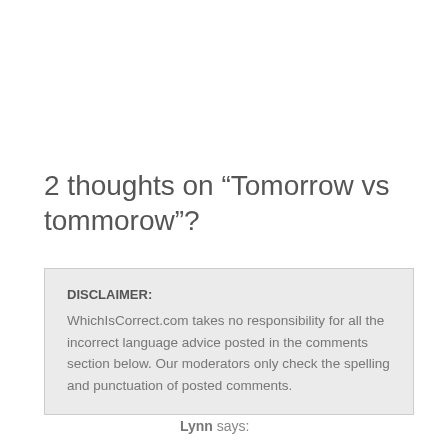2 thoughts on “Tomorrow vs tommorow”?
DISCLAIMER: WhichIsCorrect.com takes no responsibility for all the incorrect language advice posted in the comments section below. Our moderators only check the spelling and punctuation of posted comments.
Lynn says: